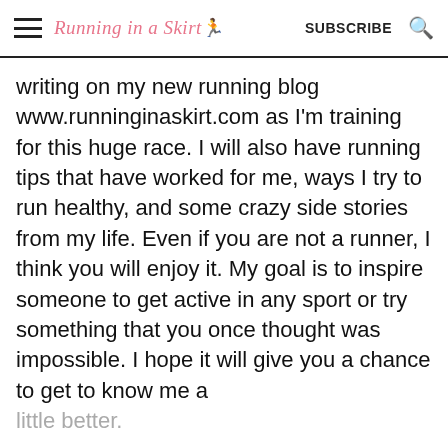Running in a Skirt | SUBSCRIBE
writing on my new running blog www.runninginaskirt.com as I'm training for this huge race. I will also have running tips that have worked for me, ways I try to run healthy, and some crazy side stories from my life. Even if you are not a runner, I think you will enjoy it. My goal is to inspire someone to get active in any sport or try something that you once thought was impossible. I hope it will give you a chance to get to know me a little better.